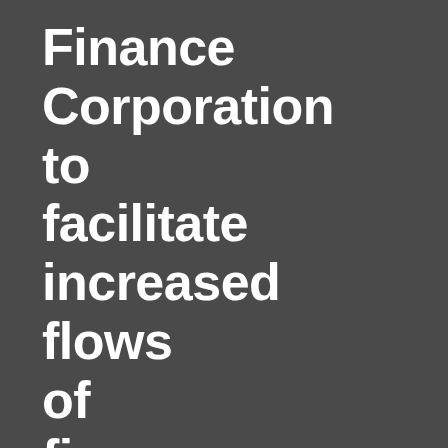Finance Corporation to facilitate increased flows of finance into the clean energy